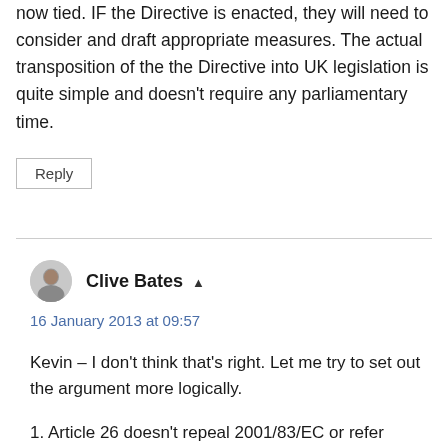now tied. IF the Directive is enacted, they will need to consider and draft appropriate measures. The actual transposition of the the Directive into UK legislation is quite simple and doesn't require any parliamentary time.
Reply
Clive Bates
16 January 2013 at 09:57
Kevin – I don't think that's right. Let me try to set out the argument more logically.
1. Article 26 doesn't repeal 2001/83/EC or refer